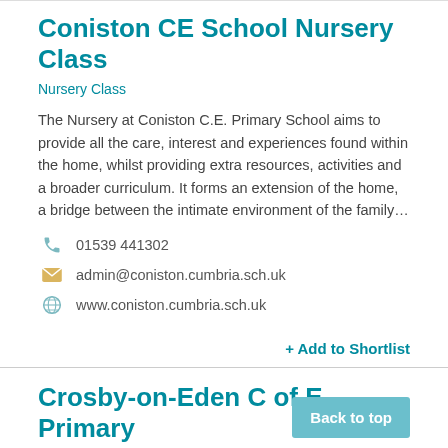Coniston CE School Nursery Class
Nursery Class
The Nursery at Coniston C.E. Primary School aims to provide all the care, interest and experiences found within the home, whilst providing extra resources, activities and a broader curriculum. It forms an extension of the home, a bridge between the intimate environment of the family…
01539 441302
admin@coniston.cumbria.sch.uk
www.coniston.cumbria.sch.uk
+ Add to Shortlist
Crosby-on-Eden C of E Primary School Nursery Class
Nursery Class
01228 212080
Back to top